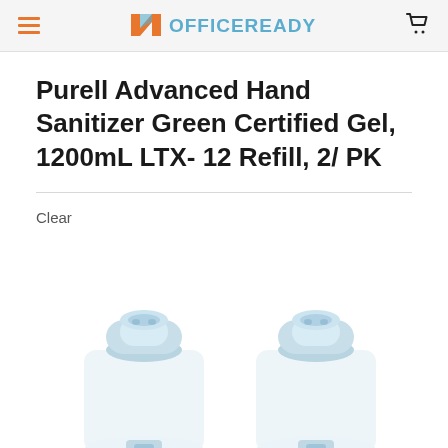OFFICEREADY
Purell Advanced Hand Sanitizer Green Certified Gel, 1200mL LTX- 12 Refill, 2/ PK
Clear
[Figure (photo): Two hand sanitizer dispenser refill bottles (Purell LTX-12, 1200mL) with light blue pump tops visible from above, white/clear containers]